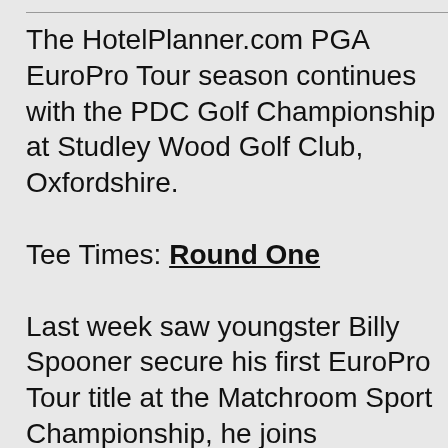The HotelPlanner.com PGA EuroPro Tour season continues with the PDC Golf Championship at Studley Wood Golf Club, Oxfordshire.

Tee Times: Round One

Last week saw youngster Billy Spooner secure his first EuroPro Tour title at the Matchroom Sport Championship, he joins Scotland's Paul O'Hara at